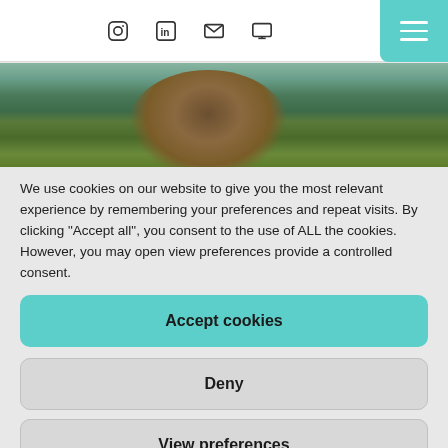Navigation icons: Instagram, LinkedIn, Email, Laptop/Website; Menu button
[Figure (photo): Partial view of a child's head with brown hair against a background of green foliage and blue sky]
We use cookies on our website to give you the most relevant experience by remembering your preferences and repeat visits. By clicking "Accept all", you consent to the use of ALL the cookies. However, you may open view preferences provide a controlled consent.
Accept cookies
Deny
View preferences